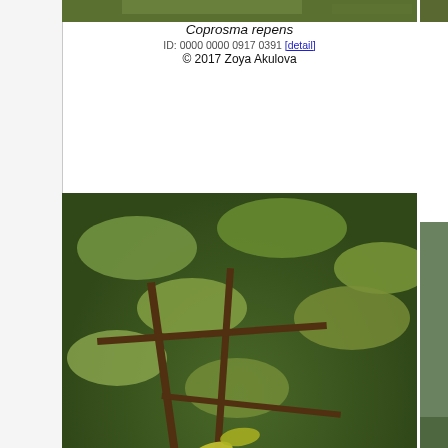[Figure (photo): Close-up photo of Coprosma repens plant with orange berries and green leaves on branches]
Coprosma repens
ID: 0000 0000 0917 0391 [detail]
© 2017 Zoya Akulova
[Figure (photo): Photo of Coprosma repens Coppershine cultivar plant]
Coprosma repens
Coppershine
ID: 0000 0000 1019 1489 [detail]
© 2019 Jean Pawek
[Figure (photo): Partial photo of Coprosma repens plant, cropped on right edge]
ID: 0
[Figure (photo): Photo of Coprosma repens Mirror Bush showing branches with orange-red berries and yellow-green leaves]
Coprosma repens
Mirror Bush
ID: 0000 0000 0819 0903 [detail]
© 2019 Scott Batiuk
[Figure (photo): Photo of Coprosma repens Mirror Bush showing silvery-green oval leaf and small buds]
Coprosma repens
Mirror Bush
ID: 0000 0000 0119 1938 [detail]
© 2019 Scott Batiuk
[Figure (photo): Partial photo of Coprosma repens, cropped on right edge]
ID: 0
[Figure (photo): Photo of green Coprosma plant flower/bud close-up with tan background]
[Figure (photo): Photo of Coprosma plant with spiky seed/flower structures and tan background]
[Figure (photo): Partial dark photo of Coprosma, cropped on right edge]